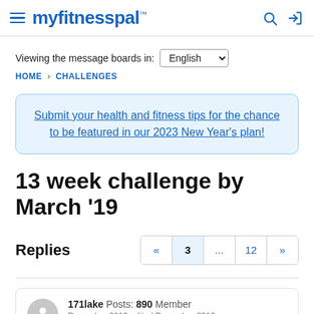myfitnesspal
Viewing the message boards in: English
HOME › CHALLENGES
Submit your health and fitness tips for the chance to be featured in our 2023 New Year's plan!
13 week challenge by March '19
Replies  « 3 ... 12 »
171lake  Posts: 890  Member